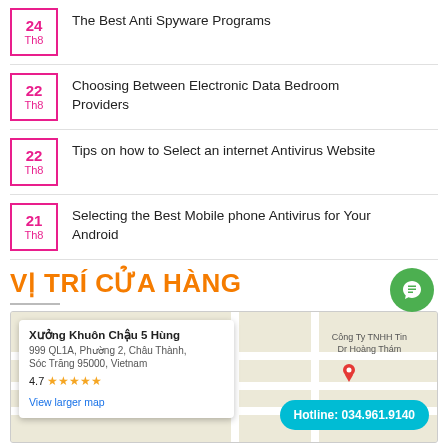24 Th8 — The Best Anti Spyware Programs
22 Th8 — Choosing Between Electronic Data Bedroom Providers
22 Th8 — Tips on how to Select an internet Antivirus Website
21 Th8 — Selecting the Best Mobile phone Antivirus for Your Android
VỊ TRÍ CỬA HÀNG
[Figure (map): Google Maps embed showing location of Xưởng Khuôn Chậu 5 Hùng at 999 QL1A, Phường 2, Châu Thành, Sóc Trăng 95000, Vietnam. Rating 4.7 stars. Map popup with View larger map link. Hotline button: 034.961.9140]